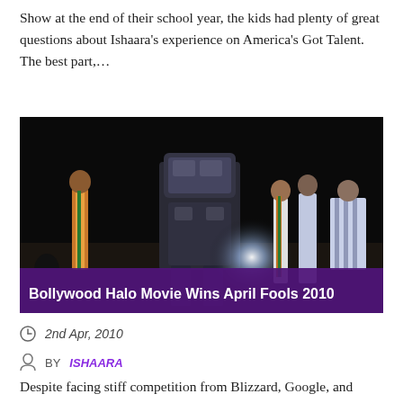Show at the end of their school year, the kids had plenty of great questions about Ishaara's experience on America's Got Talent. The best part,…
[Figure (photo): Dark stage scene with performers wearing colorful costumes (orange sashes) standing around a large robotic figure. A bright light shines from center stage. Overlaid purple banner at bottom reads 'Bollywood Halo Movie Wins April Fools 2010'.]
2nd Apr, 2010
BY ISHAARA
Despite facing stiff competition from Blizzard, Google, and (ironically) Bungie, I have to give the nod for Best April Fools' 2010 to IGN, for its movie trailer showing Master Chief – as